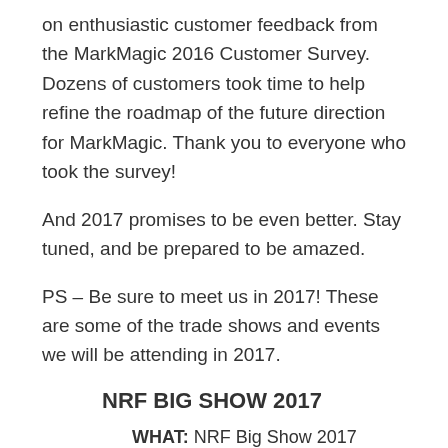on enthusiastic customer feedback from the MarkMagic 2016 Customer Survey. Dozens of customers took time to help refine the roadmap of the future direction for MarkMagic. Thank you to everyone who took the survey!
And 2017 promises to be even better. Stay tuned, and be prepared to be amazed.
PS – Be sure to meet us in 2017! These are some of the trade shows and events we will be attending in 2017.
NRF BIG SHOW 2017
WHAT: NRF Big Show 2017
WHEN: January 15th – 17th
WHERE: New York, NY